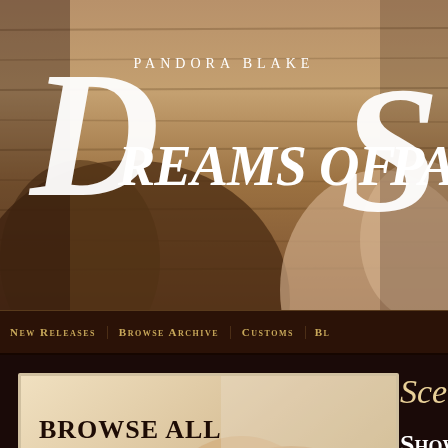[Figure (screenshot): Pandora Blake Dreams of Spanking website header banner with decorative script logo on wood-toned background with figure photography]
New Releases   Browse Archive   Customs   Bl...
[Figure (screenshot): Browse All Spanking Scenes by category promotional banner with figure photography and double chevron arrow]
Scenes ...
Show A...
Film (running ...
Login to your account